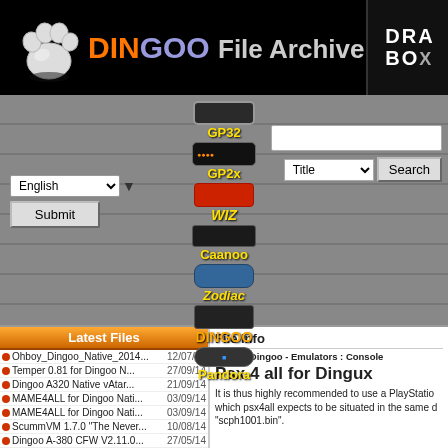DINGOO File Archive
[Figure (logo): White paw print logo on black background]
[Figure (logo): DRAW BOX logo in top right corner]
[Figure (screenshot): Navigation bar with device buttons: GP32, GP2x, WIZ, Caanoo, Zodiac, DINGOO, Pandora. Language selector (English), Submit button, search box, Title dropdown, and Search button.]
Latest Files
| File | Date |
| --- | --- |
| Ohboy_Dingoo_Native_2014... | 12/07/15 |
| Temper 0.81 for Dingoo N... | 27/09/14 |
| Dingoo A320 Native vAtar... | 21/09/14 |
| MAME4ALL for Dingoo Nati... | 03/09/14 |
| MAME4ALL for Dingoo Nati... | 03/09/14 |
| ScummVM 1.7.0 "The Never... | 10/08/14 |
| Dingoo A-380 CFW V2.11.0... | 27/05/14 |
| Dingoo A-380 CFW V2.11.0... | 24/05/14 |
| SDL-VICE-2.4.6-A-380 | 11/05/14 |
| Dingoo A-380 CFW V2.11.0... | 13/04/14 |
File Info
Home : Dingoo - Emulators : Console
Psx 4 all for Dingux
It is thus highly recommended to use a PlayStation which psx4all expects to be situated in the same d "scph1001.bin".